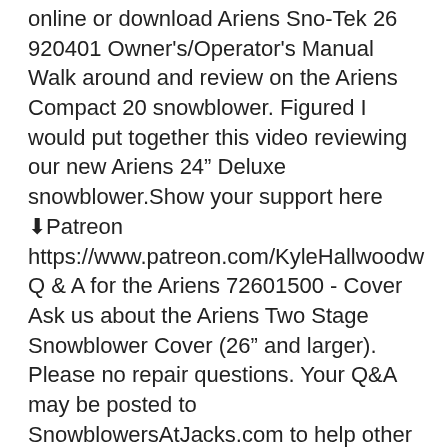Ariens Sno-Tek 26 920401 full user manual. How online or download Ariens Sno-Tek 26 920401 Owner's/Operator's Manual Walk around and review on the Ariens Compact 20 snowblower. Figured I would put together this video reviewing our new Ariens 24" Deluxe snowblower.Show your support here ⬇Patreon https://www.patreon.com/KyleHallwoodw Q & A for the Ariens 72601500 - Cover Ask us about the Ariens Two Stage Snowblower Cover (26" and larger). Please no repair questions. Your Q&A may be posted to SnowblowersAtJacks.com to help other shoppers, like you, with their purchasing decisions. The Ariens is a good product, and your telephone salesperson was knowledgeable and helpful in assisting me with the purchase. The machine arrived when I was led to believe it would, and is just as represented in the literature.